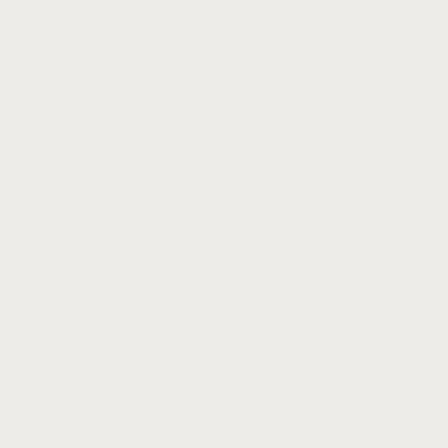she had read this who writ it and tha it nee som mo And so she can up with som mo Eas We to